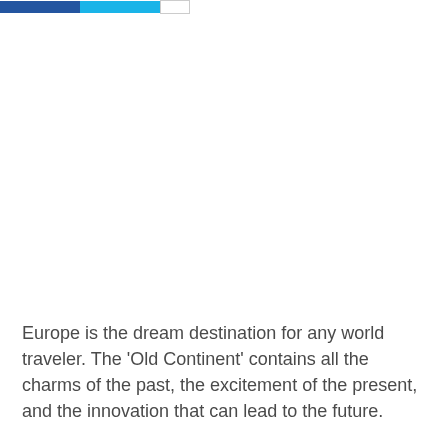Europe is the dream destination for any world traveler. The 'Old Continent' contains all the charms of the past, the excitement of the present, and the innovation that can lead to the future.